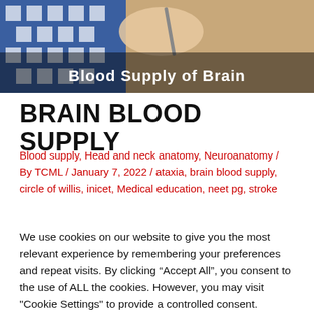[Figure (photo): Hero image showing a hand holding a pen over paper, with a blue checkered fabric visible. Bold white text reads 'Blood Supply of Brain' overlaid at the bottom of the image.]
BRAIN BLOOD SUPPLY
Blood supply, Head and neck anatomy, Neuroanatomy / By TCML / January 7, 2022 / ataxia, brain blood supply, circle of willis, inicet, Medical education, neet pg, stroke
We use cookies on our website to give you the most relevant experience by remembering your preferences and repeat visits. By clicking “Accept All”, you consent to the use of ALL the cookies. However, you may visit "Cookie Settings" to provide a controlled consent.